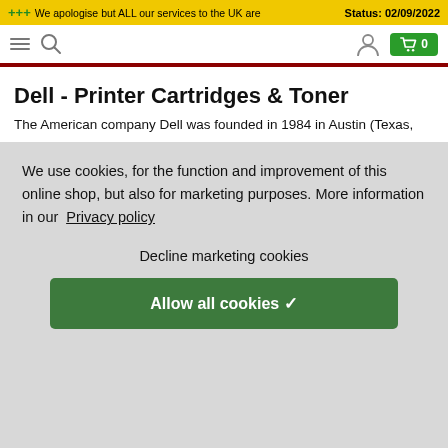+++ We apologise but ALL our services to the UK are Status: 02/09/2022
Dell - Printer Cartridges & Toner
The American company Dell was founded in 1984 in Austin (Texas,
We use cookies, for the function and improvement of this online shop, but also for marketing purposes. More information in our Privacy policy
Decline marketing cookies
Allow all cookies ✓